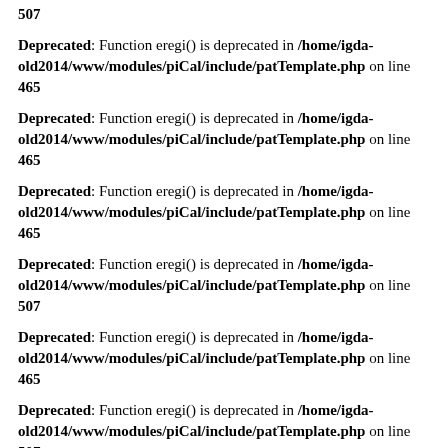507
Deprecated: Function eregi() is deprecated in /home/igda-old2014/www/modules/piCal/include/patTemplate.php on line 465
Deprecated: Function eregi() is deprecated in /home/igda-old2014/www/modules/piCal/include/patTemplate.php on line 465
Deprecated: Function eregi() is deprecated in /home/igda-old2014/www/modules/piCal/include/patTemplate.php on line 465
Deprecated: Function eregi() is deprecated in /home/igda-old2014/www/modules/piCal/include/patTemplate.php on line 507
Deprecated: Function eregi() is deprecated in /home/igda-old2014/www/modules/piCal/include/patTemplate.php on line 465
Deprecated: Function eregi() is deprecated in /home/igda-old2014/www/modules/piCal/include/patTemplate.php on line 507